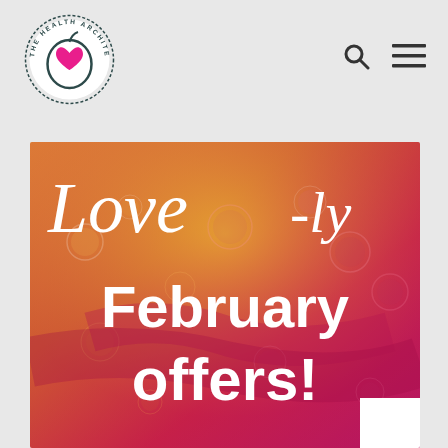[Figure (logo): The Health Architect logo — circular badge with apple and heart icon, text 'THE HEALTH ARCHITECT' around the circle]
[Figure (illustration): Website header navigation with search icon and hamburger menu icon on light gray background]
[Figure (photo): Promotional banner image with orange-to-magenta gradient background with water droplets, white script text reading 'Love-ly' and sans-serif text reading 'February offers!']